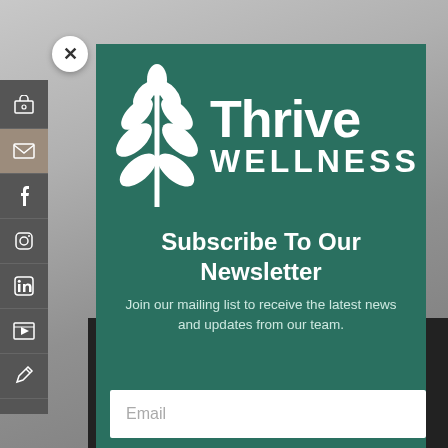[Figure (screenshot): Website popup modal for Thrive Wellness newsletter subscription, overlaid on a blurred room interior photo. Left sidebar with social/navigation icons visible. Modal has dark teal background with white plant/leaf logo, bold white text for brand name Thrive Wellness, subscription headline, body text, and email input field at bottom.]
Thrive WELLNESS
Subscribe To Our Newsletter
Join our mailing list to receive the latest news and updates from our team.
Email